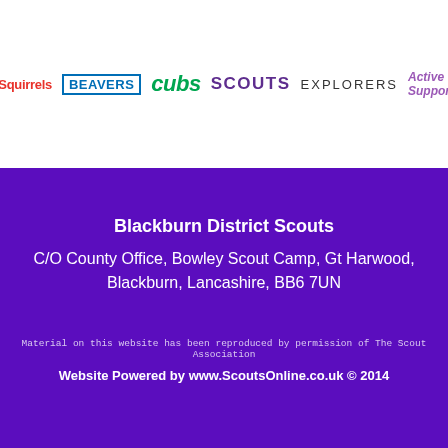[Figure (logo): Scout section logos: Squirrels (red), Beavers (blue outlined), cubs (green italic), SCOUTS (purple bold), EXPLORERS (grey), Active Support (purple italic)]
Blackburn District Scouts
C/O County Office, Bowley Scout Camp, Gt Harwood, Blackburn, Lancashire, BB6 7UN
Material on this website has been reproduced by permission of The Scout Association
Website Powered by www.ScoutsOnline.co.uk © 2014